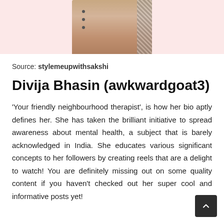[Figure (photo): Partial photo of a person wearing a beige/cream outfit with houndstooth pattern detail, cropped at top]
Source: stylemeupwithsakshi
Divija Bhasin (awkwardgoat3)
'Your friendly neighbourhood therapist', is how her bio aptly defines her. She has taken the brilliant initiative to spread awareness about mental health, a subject that is barely acknowledged in India. She educates various significant concepts to her followers by creating reels that are a delight to watch! You are definitely missing out on some quality content if you haven't checked out her super cool and informative posts yet!